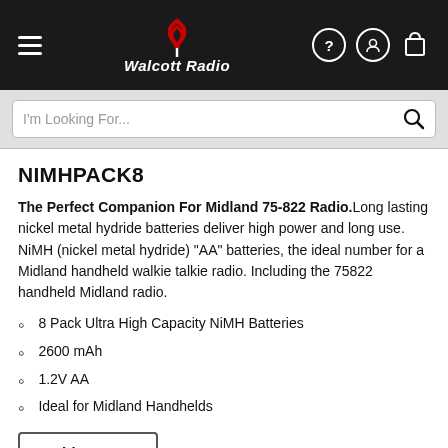Walcott Radio — navigation header with hamburger menu, logo, help, account, and cart icons
I'm Looking For...
NIMHPACK8
The Perfect Companion For Midland 75-822 Radio. Long lasting nickel metal hydride batteries deliver high power and long use. NiMH (nickel metal hydride) "AA" batteries, the ideal number for a Midland handheld walkie talkie radio. Including the 75822 handheld Midland radio.
8 Pack Ultra High Capacity NiMH Batteries
2600 mAh
1.2V AA
Ideal for Midland Handhelds
Add to Cart